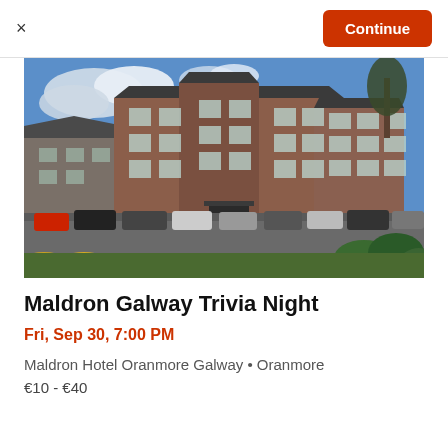×
Continue
[Figure (photo): Exterior photo of Maldron Hotel Oranmore Galway — a large multi-storey red brick building with green roof accents, blue sky with clouds, and a car park in the foreground with various vehicles. Yellow flowering shrubs visible in the lower foreground.]
Maldron Galway Trivia Night
Fri, Sep 30, 7:00 PM
Maldron Hotel Oranmore Galway • Oranmore
€10 - €40